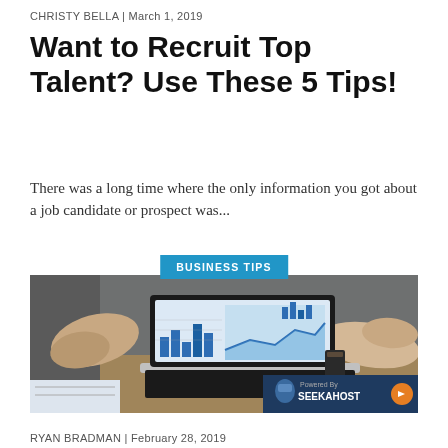CHRISTY BELLA | March 1, 2019
Want to Recruit Top Talent? Use These 5 Tips!
There was a long time where the only information you got about a job candidate or prospect was...
[Figure (photo): Photo of two people at a desk pointing at a laptop showing business analytics dashboards with charts and graphs]
RYAN BRADMAN | February 28, 2019